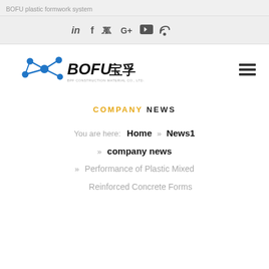BOFU plastic formwork system
[Figure (logo): Social media icons bar: LinkedIn, Facebook, Twitter, Google+, YouTube, RSS]
[Figure (logo): BOFU 宝孚 logo with blue molecular/network graphic and company name, with hamburger menu icon on right]
COMPANY NEWS
You are here:  Home  »  News1  »  company news  »  Performance of Plastic Mixed Reinforced Concrete Forms